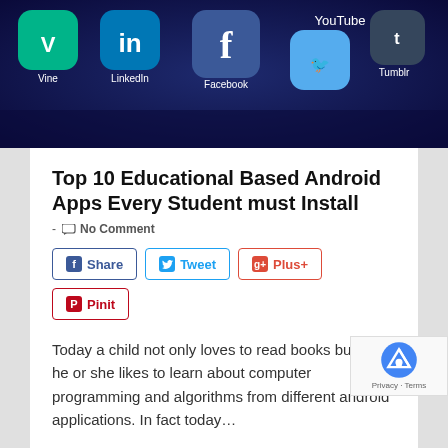[Figure (photo): Smartphone screen showing app icons including Vine, LinkedIn, Facebook, YouTube, Tumblr, and Twitter on a dark blue background]
Top 10 Educational Based Android Apps Every Student must Install
- No Comment
Share  Tweet  Plus+  Pinit
Today a child not only loves to read books but also he or she likes to learn about computer programming and algorithms from different android applications. In fact today...
[Figure (photo): Partial image of a child (bottom of page)]